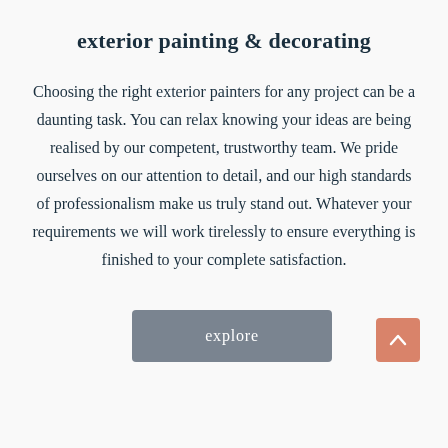exterior painting & decorating
Choosing the right exterior painters for any project can be a daunting task. You can relax knowing your ideas are being realised by our competent, trustworthy team. We pride ourselves on our attention to detail, and our high standards of professionalism make us truly stand out. Whatever your requirements we will work tirelessly to ensure everything is finished to your complete satisfaction.
[Figure (other): A grey button labeled 'explore' and a salmon/coral back-to-top arrow button in the bottom right corner]